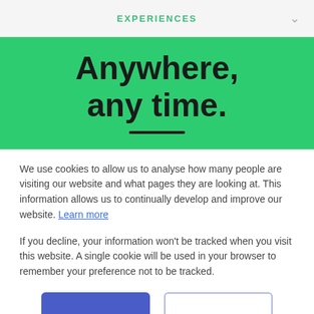EXPERIENCES
Anywhere, any time.
We use cookies to allow us to analyse how many people are visiting our website and what pages they are looking at. This information allows us to continually develop and improve our website. Learn more
If you decline, your information won’t be tracked when you visit this website. A single cookie will be used in your browser to remember your preference not to be tracked.
Accept | Decline